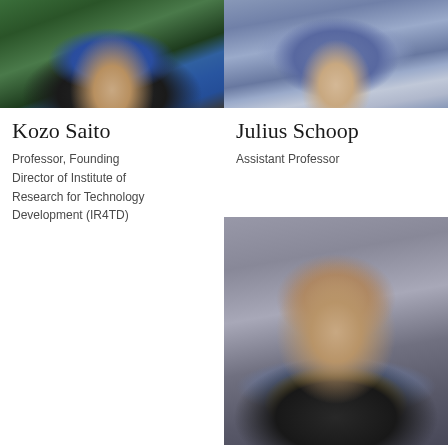[Figure (photo): Photo of Kozo Saito, older man outdoors in blue shirt and dark sweater]
Kozo Saito
Professor, Founding Director of Institute of Research for Technology Development (IR4TD)
[Figure (photo): Photo of Julius Schoop, man in grey suit with light blue shirt]
Julius Schoop
Assistant Professor
[Figure (photo): Photo of a third person, young man in black suit with light blue shirt and gold tie, neutral background]